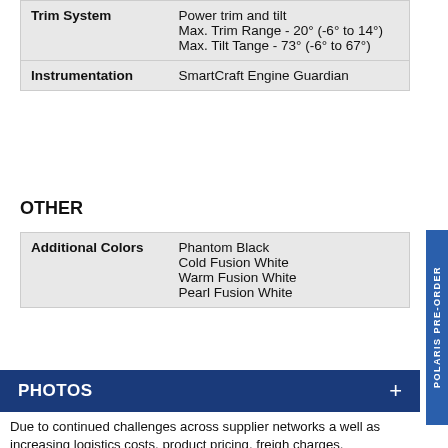| Feature | Value |
| --- | --- |
| Trim System | Power trim and tilt
Max. Trim Range - 20° (-6° to 14°)
Max. Tilt Tange - 73° (-6° to 67°) |
| Instrumentation | SmartCraft Engine Guardian |
OTHER
| Feature | Value |
| --- | --- |
| Additional Colors | Phantom Black
Cold Fusion White
Warm Fusion White
Pearl Fusion White |
PHOTOS +
Due to continued challenges across supplier networks as well as increasing logistics costs, product pricing, freight charges, specifications, and features are subject to change at any time without prior notice. Please confirm all information with your local dealership.